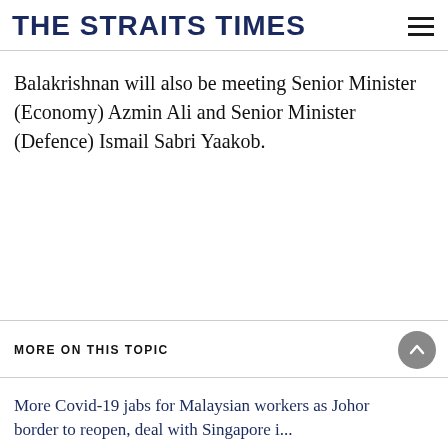THE STRAITS TIMES
Balakrishnan will also be meeting Senior Minister (Economy) Azmin Ali and Senior Minister (Defence) Ismail Sabri Yaakob.
MORE ON THIS TOPIC
More Covid-19 jabs for Malaysian workers as Johor border to reopen, deal with Singapore in...